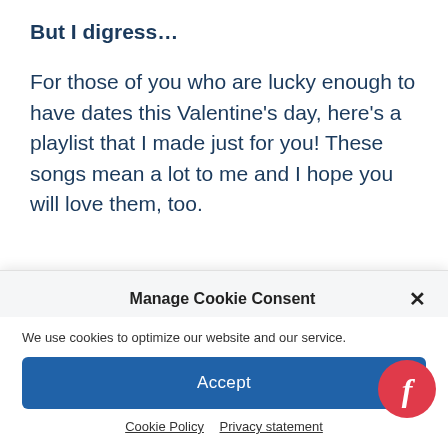But I digress…
For those of you who are lucky enough to have dates this Valentine's day, here's a playlist that I made just for you! These songs mean a lot to me and I hope you will love them, too.
Manage Cookie Consent
We use cookies to optimize our website and our service.
Accept
Cookie Policy   Privacy statement